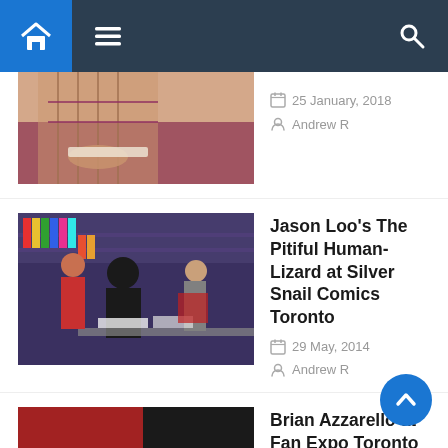Navigation bar with home, menu, and search icons
[Figure (photo): Partial photo of a person in plaid shirt at a signing table, cut off at top]
25 January, 2018
Andrew R
[Figure (photo): Photo of Jason Loo at Silver Snail Comics Toronto signing event, people browsing comic books in background]
Jason Loo's The Pitiful Human-Lizard at Silver Snail Comics Toronto
29 May, 2014
Andrew R
[Figure (photo): Photo of Brian Azzarello at Fan Expo Toronto Canada 2014 signing table with red-shirted attendees]
Brian Azzarello at Fan Expo Toronto Canada 2014
1 September, 2014
Andrew R
[Figure (photo): Partial photo of Paul Rivoche, bald man with glasses in front of yellow background]
Paul Rivoche At Fan Expo Canada Toronto 2013
10 March, 2014
Andrew R